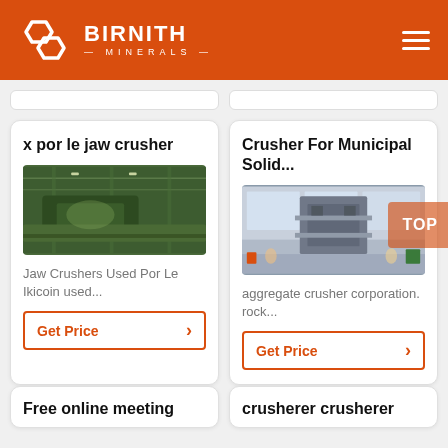BIRNITH MINERALS
x por le jaw crusher
[Figure (photo): Industrial jaw crusher machinery inside a factory — green heavy equipment on a conveyor]
Jaw Crushers Used Por Le Ikicoin used...
Get Price
Crusher For Municipal Solid...
[Figure (photo): Large industrial crusher machine in a factory hall — multi-story industrial processing equipment]
aggregate crusher corporation. rock...
Get Price
Free online meeting
crusherer crusherer